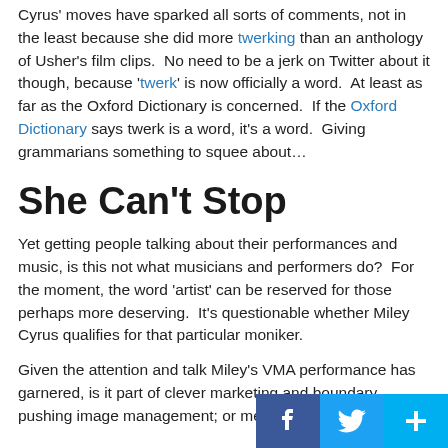Cyrus' moves have sparked all sorts of comments, not in the least because she did more twerking than an anthology of Usher's film clips.  No need to be a jerk on Twitter about it though, because 'twerk' is now officially a word.  At least as far as the Oxford Dictionary is concerned.  If the Oxford Dictionary says twerk is a word, it's a word.  Giving grammarians something to squee about…
She Can't Stop
Yet getting people talking about their performances and music, is this not what musicians and performers do?  For the moment, the word 'artist' can be reserved for those perhaps more deserving.  It's questionable whether Miley Cyrus qualifies for that particular moniker.
Given the attention and talk Miley's VMA performance has garnered, is it part of clever marketing and boundary pushing image management; or merely following the path already worn by former exhibitionists. Self it…